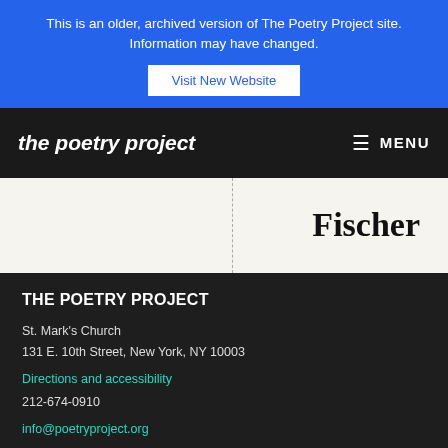This is an older, archived version of The Poetry Project site. Information may have changed.
Visit New Website
the poetry project  MENU
Fischer
THE POETRY PROJECT
St. Mark's Church
131 E. 10th Street, New York, NY 10003
Directions and accessibility
212-674-0910
info@poetryproject.org